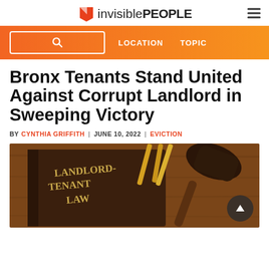invisible PEOPLE
Bronx Tenants Stand United Against Corrupt Landlord in Sweeping Victory
BY CYNTHIA GRIFFITH | JUNE 10, 2022 | EVICTION
[Figure (photo): A book titled LANDLORD-TENANT LAW on a wooden surface with a gavel, representing legal proceedings.]